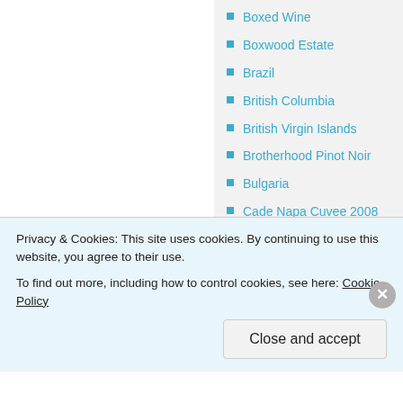Boxed Wine
Boxwood Estate
Brazil
British Columbia
British Virgin Islands
Brotherhood Pinot Noir
Bulgaria
Cade Napa Cuvee 2008
California
Cantine Ferrari
Central Otago
Privacy & Cookies: This site uses cookies. By continuing to use this website, you agree to their use.
To find out more, including how to control cookies, see here: Cookie Policy
Close and accept